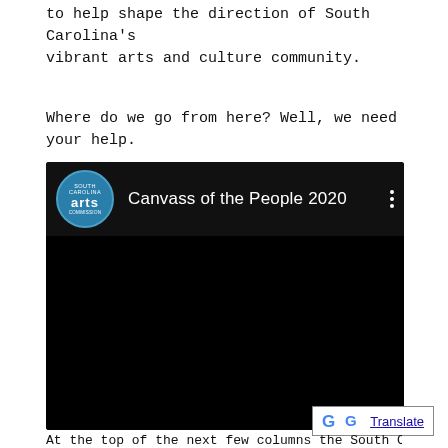to help shape the direction of South Carolina's vibrant arts and culture community.
Where do we go from here? Well, we need your help.
[Figure (screenshot): YouTube-style embedded video player with black background. Header shows South Carolina Arts Commission logo (blue circle with 'arts' text) and title 'Canvass of the People 2020' with three-dot menu icon on a dark background. Rest of the video area is solid black.]
[Figure (logo): Google Translate button with colored G logo and underlined 'Translate' text in blue, inside a bordered box.]
At the top of the next few columns the South C...